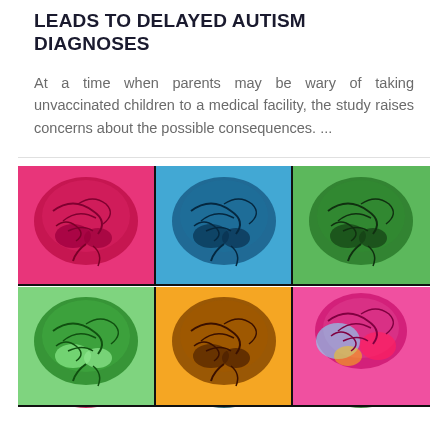LEADS TO DELAYED AUTISM DIAGNOSES
At a time when parents may be wary of taking unvaccinated children to a medical facility, the study raises concerns about the possible consequences. ...
[Figure (photo): Pop-art style grid of 9 colorful brain MRI scans in a 3x3 grid. Each brain scan is displayed in a different vivid color background: top row left-to-right: pink/magenta, blue, green; middle row: green, orange, pink/multicolor; bottom row (partially visible): pink, blue/teal, green.]